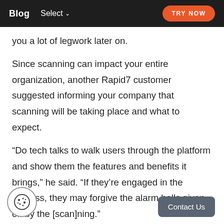Blog  Select  TRY NOW
you a lot of legwork later on.
Since scanning can impact your entire organization, another Rapid7 customer suggested informing your company that scanning will be taking place and what to expect.
“Do tech talks to walk users through the platform and show them the features and benefits it brings,” he said. “If they’re engaged in the process, they may forgive the alarm bells given off by the [scan]ning.”